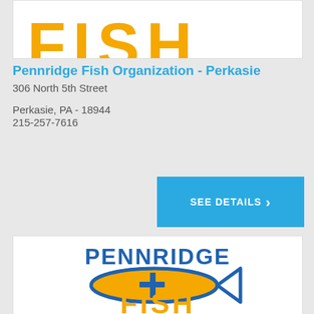[Figure (logo): Partial Pennridge Fish Organization logo showing gold 'FISH' letters cropped at top of card]
Pennridge Fish Organization - Perkasie
306 North 5th Street
Perkasie, PA - 18944
215-257-7616
SEE DETAILS
[Figure (logo): Pennridge Fish Organization logo: 'PENNRIDGE' in blue bold text above a blue and gold fish ichthys symbol with a cross, and 'FISH' in large gold bold text below]